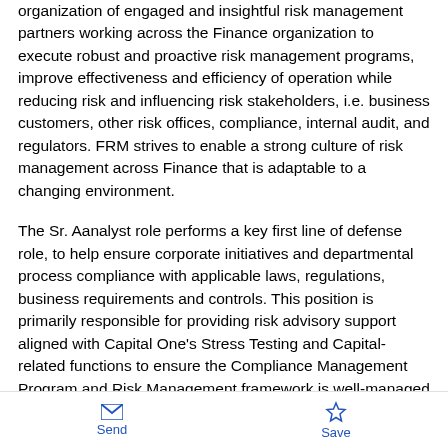organization of engaged and insightful risk management partners working across the Finance organization to execute robust and proactive risk management programs, improve effectiveness and efficiency of operation while reducing risk and influencing risk stakeholders, i.e. business customers, other risk offices, compliance, internal audit, and regulators. FRM strives to enable a strong culture of risk management across Finance that is adaptable to a changing environment.
The Sr. Aanalyst role performs a key first line of defense role, to help ensure corporate initiatives and departmental process compliance with applicable laws, regulations, business requirements and controls. This position is primarily responsible for providing risk advisory support aligned with Capital One's Stress Testing and Capital-related functions to ensure the Compliance Management Program and Risk Management framework is well-managed and sustainable. This position may also require interactions with a variety of stakeholders and subject matter experts throughout Finance;
Send  Save